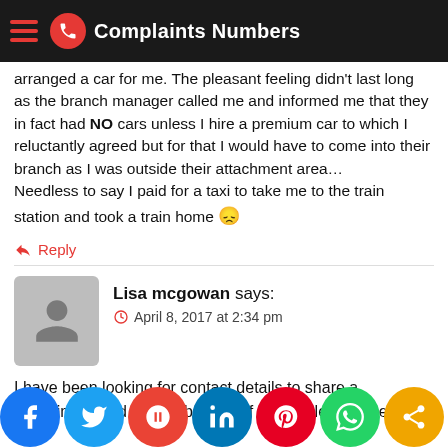Complaints Numbers
arranged a car for me. The pleasant feeling didn't last long as the branch manager called me and informed me that they in fact had NO cars unless I hire a premium car to which I reluctantly agreed but for that I would have to come into their branch as I was outside their attachment area… Needless to say I paid for a taxi to take me to the train station and took a train home 😞
Reply
Lisa mcgowan says:
April 8, 2017 at 2:34 pm
I have been looking for contact details to share a compliment and in the absence of any will leave it here. The staff are always on time,